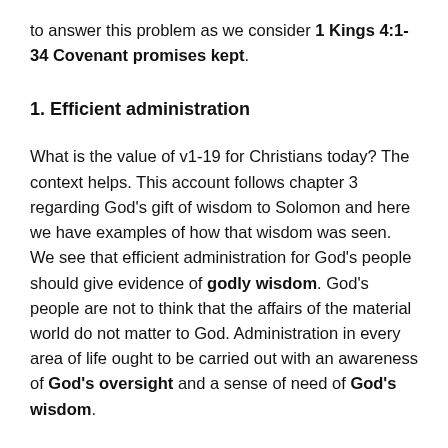to answer this problem as we consider 1 Kings 4:1-34 Covenant promises kept.
1. Efficient administration
What is the value of v1-19 for Christians today?  The context helps.  This account follows chapter 3 regarding God's gift of wisdom to Solomon and here we have examples of how that wisdom was seen.  We see that efficient administration for God's people should give evidence of godly wisdom.  God's people are not to think that the affairs of the material world do not matter to God.  Administration in every area of life ought to be carried out with an awareness of God's oversight and a sense of need of God's wisdom.
2. Covenant blessings